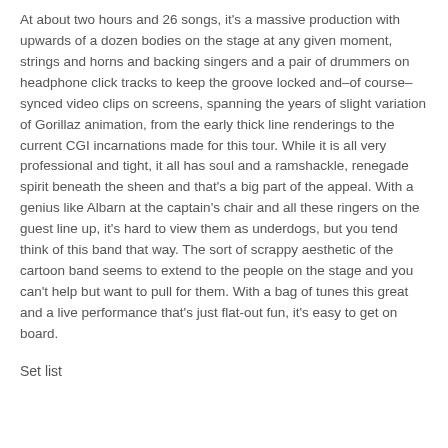At about two hours and 26 songs, it's a massive production with upwards of a dozen bodies on the stage at any given moment, strings and horns and backing singers and a pair of drummers on headphone click tracks to keep the groove locked and–of course–synced video clips on screens, spanning the years of slight variation of Gorillaz animation, from the early thick line renderings to the current CGI incarnations made for this tour. While it is all very professional and tight, it all has soul and a ramshackle, renegade spirit beneath the sheen and that's a big part of the appeal. With a genius like Albarn at the captain's chair and all these ringers on the guest line up, it's hard to view them as underdogs, but you tend think of this band that way. The sort of scrappy aesthetic of the cartoon band seems to extend to the people on the stage and you can't help but want to pull for them. With a bag of tunes this great and a live performance that's just flat-out fun, it's easy to get on board.
Set list